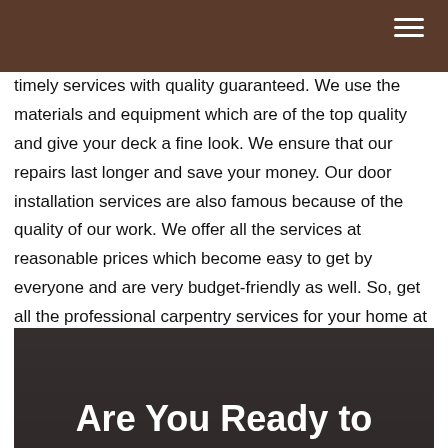timely services with quality guaranteed. We use the materials and equipment which are of the top quality and give your deck a fine look. We ensure that our repairs last longer and save your money. Our door installation services are also famous because of the quality of our work. We offer all the services at reasonable prices which become easy to get by everyone and are very budget-friendly as well. So, get all the professional carpentry services for your home at Rick's Carpentry where quality is always guaranteed.
[Figure (photo): Dark background image with large white bold text reading 'Are You Ready to']